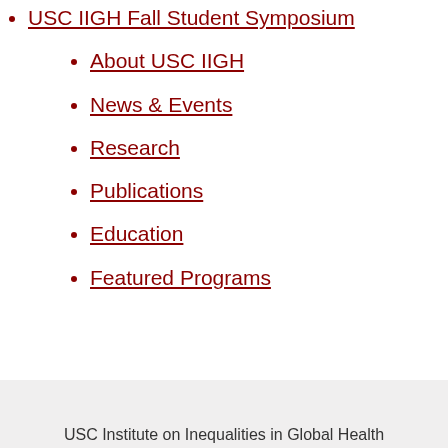USC IIGH Fall Student Symposium
About USC IIGH
News & Events
Research
Publications
Education
Featured Programs
USC Institute on Inequalities in Global Health